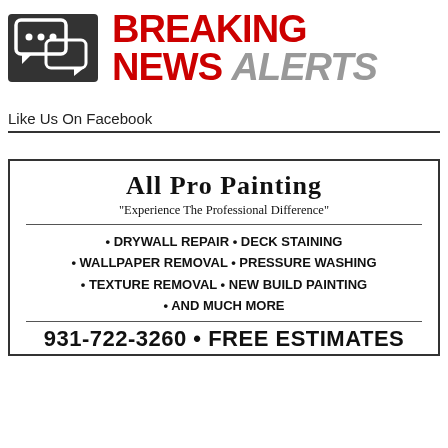[Figure (logo): Breaking News Alerts logo with chat bubble icon on dark background and bold red/grey text]
Like Us On Facebook
[Figure (infographic): All Pro Painting advertisement with services list and phone number]